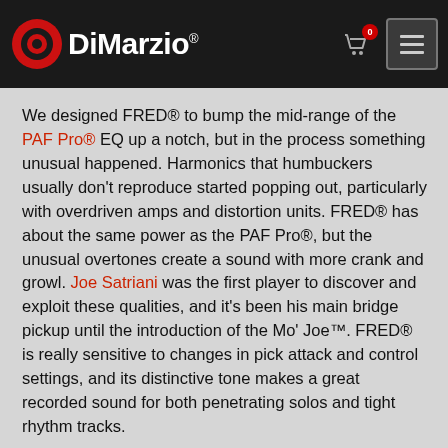[Figure (logo): DiMarzio logo with red sun/gear icon and white DiMarzio text with registered trademark symbol, on dark background]
We designed FRED® to bump the mid-range of the PAF Pro® EQ up a notch, but in the process something unusual happened. Harmonics that humbuckers usually don't reproduce started popping out, particularly with overdriven amps and distortion units. FRED® has about the same power as the PAF Pro®, but the unusual overtones create a sound with more crank and growl. Joe Satriani was the first player to discover and exploit these qualities, and it's been his main bridge pickup until the introduction of the Mo' Joe™. FRED® is really sensitive to changes in pick attack and control settings, and its distinctive tone makes a great recorded sound for both penetrating solos and tight rhythm tracks.